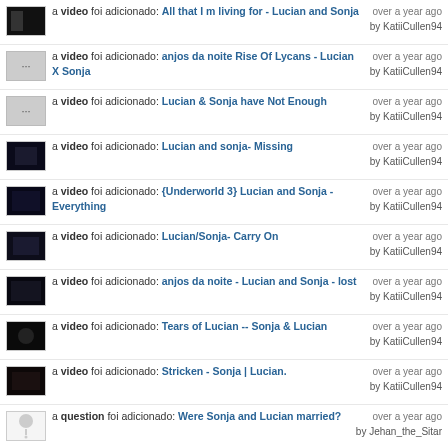a video foi adicionado: All that I m living for - Lucian and Sonja | over a year ago by KatiiCullen94
a video foi adicionado: anjos da noite Rise Of Lycans - Lucian X Sonja | over a year ago by KatiiCullen94
a video foi adicionado: Lucian & Sonja have Not Enough | over a year ago by KatiiCullen94
a video foi adicionado: Lucian and sonja- Missing | over a year ago by KatiiCullen94
a video foi adicionado: {Underworld 3} Lucian and Sonja - Everything | over a year ago by KatiiCullen94
a video foi adicionado: Lucian/Sonja- Carry On | over a year ago by KatiiCullen94
a video foi adicionado: anjos da noite - Lucian and Sonja - lost | over a year ago by KatiiCullen94
a video foi adicionado: Tears of Lucian -- Sonja & Lucian | over a year ago by KatiiCullen94
a video foi adicionado: Stricken - Sonja | Lucian. | over a year ago by KatiiCullen94
a question foi adicionado: Were Sonja and Lucian married? | over a year ago by Jehan_the_Sitar
[Figure (logo): YouTube button and Twitter Follow button in footer area]